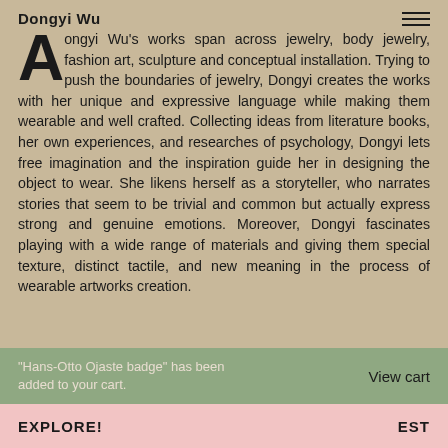Dongyi Wu
Dongyi Wu's works span across jewelry, body jewelry, fashion art, sculpture and conceptual installation. Trying to push the boundaries of jewelry, Dongyi creates the works with her unique and expressive language while making them wearable and well crafted. Collecting ideas from literature books, her own experiences, and researches of psychology, Dongyi lets free imagination and the inspiration guide her in designing the object to wear. She likens herself as a storyteller, who narrates stories that seem to be trivial and common but actually express strong and genuine emotions. Moreover, Dongyi fascinates playing with a wide range of materials and giving them special texture, distinct tactile, and new meaning in the process of wearable artworks creation.
“Hans-Otto Ojaste badge” has been added to your cart.
View cart
EXPLORE!                                                EST